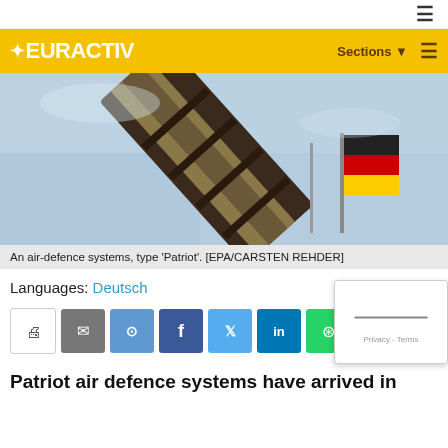[Figure (other): EURACTIV website navigation bar with yellow background and logo]
[Figure (photo): A Patriot air-defence missile system launcher pointing upward against a sky background with a German flag visible]
An air-defence systems, type 'Patriot'. [EPA/CARSTEN REHDER]
Languages: Deutsch
Patriot air defence systems have arrived in